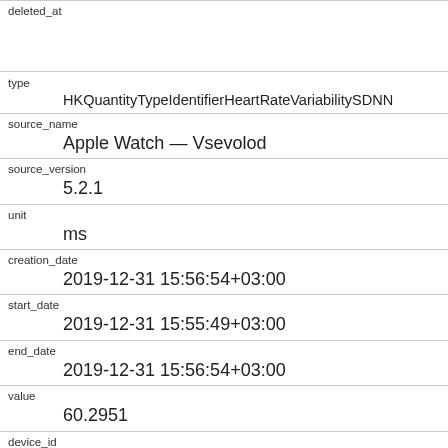| field | value |
| --- | --- |
| deleted_at |  |
| type | HKQuantityTypeIdentifierHeartRateVariabilitySDNN |
| source_name | Apple Watch — Vsevolod |
| source_version | 5.2.1 |
| unit | ms |
| creation_date | 2019-12-31 15:56:54+03:00 |
| start_date | 2019-12-31 15:55:49+03:00 |
| end_date | 2019-12-31 15:56:54+03:00 |
| value | 60.2951 |
| device_id | Apple Watch 5 |